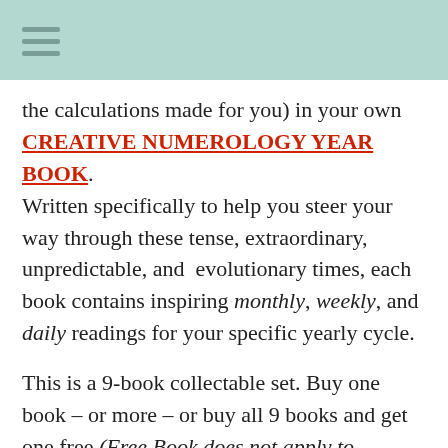the calculations made for you) in your own CREATIVE NUMEROLOGY YEAR BOOK. Written specifically to help you steer your way through these tense, extraordinary, unpredictable, and evolutionary times, each book contains inspiring monthly, weekly, and daily readings for your specific yearly cycle.

This is a 9-book collectable set. Buy one book – or more – or buy all 9 books and get one free.(Free Book does not apply to Kindle). These books make the most excellent gifts which will be used and appreciated for the entire year